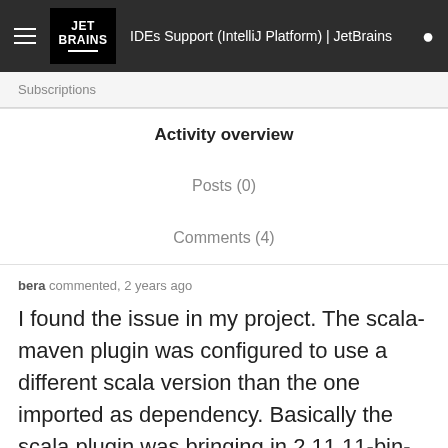JET BRAINS | IDEs Support (IntelliJ Platform) | JetBrains
Subscriptions
Activity overview
Posts (0)
Comments (4)
bera commented, 2 years ago
I found the issue in my project. The scala-maven plugin was configured to use a different scala version than the one imported as dependency. Basically the scala plugin was bringing in 2.11.11-bin-t…